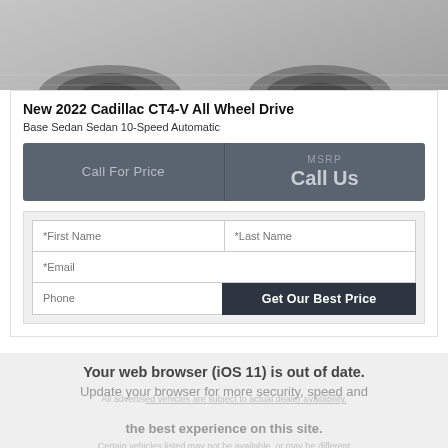[Figure (photo): Partial view of a dark-colored car's wheels/underside on a light-colored floor, shown from a low angle.]
New 2022 Cadillac CT4-V All Wheel Drive
Base Sedan Sedan 10-Speed Automatic
Call For Price | MSRP Call Us
*First Name | *Last Name
*Email
Phone | Get Our Best Price
Your web browser (iOS 11) is out of date. Update your browser for more security, speed and the best experience on this site.
All advertised vehicles are subject to actual dealer availability. Certain vehicles listed may not be available, or may be different